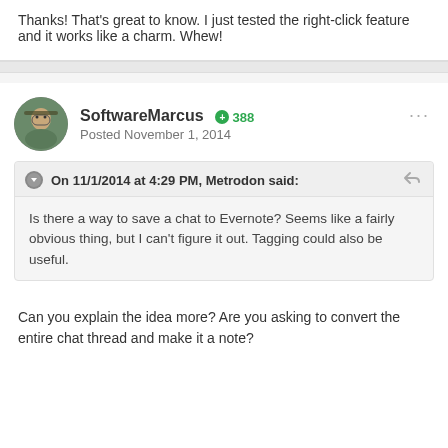Thanks! That's great to know. I just tested the right-click feature and it works like a charm. Whew!
SoftwareMarcus  388  Posted November 1, 2014
On 11/1/2014 at 4:29 PM, Metrodon said:
Is there a way to save a chat to Evernote? Seems like a fairly obvious thing, but I can't figure it out. Tagging could also be useful.
Can you explain the idea more?  Are you asking to convert the entire chat thread and make it a note?